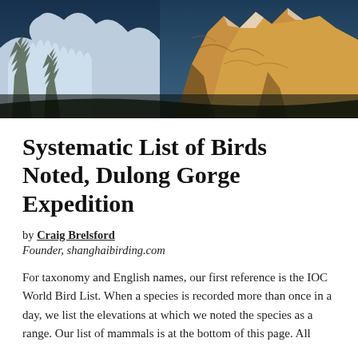[Figure (photo): Mountain landscape photo showing snow-covered peaks with golden sunlit rocky crags on the right and snow-laden pine trees on the left, against a blue sky.]
Systematic List of Birds Noted, Dulong Gorge Expedition
by Craig Brelsford
Founder, shanghaibirding.com
For taxonomy and English names, our first reference is the IOC World Bird List. When a species is recorded more than once in a day, we list the elevations at which we noted the species as a range. Our list of mammals is at the bottom of this page. All